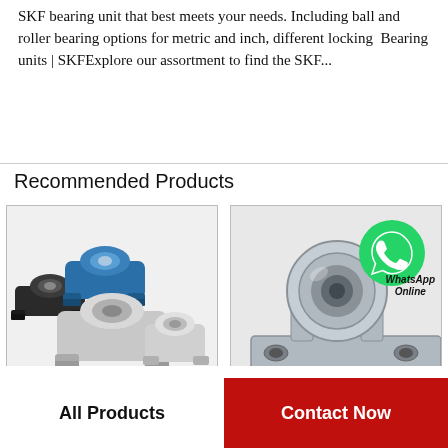SKF bearing unit that best meets your needs. Including ball and roller bearing options for metric and inch, different locking  Bearing units | SKFExplore our assortment to find the SKF...
Recommended Products
[Figure (photo): Group of SKF bearing units / pillow block bearings in black, blue, and silver/aluminum finishes with small watermark text 'Bearing Delta']
[Figure (photo): SKF stainless steel pillow block bearing unit with WhatsApp Online overlay icon and watermark text 'Bearing Delta']
FYH UCFC201-8 bearing...
SKF BE 20 WF bearing...
All Products
Contact Now